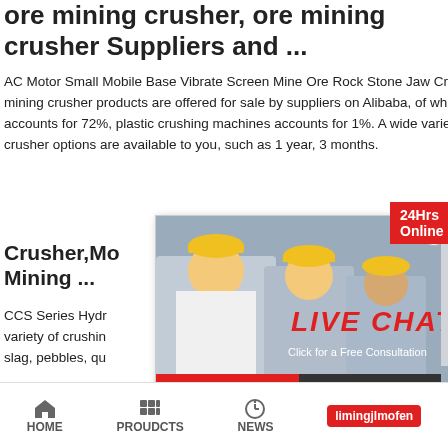ore mining crusher, ore mining crusher Suppliers and ...
AC Motor Small Mobile Base Vibrate Screen Mine Ore Rock Stone Jaw Crusher. 61,765 ore mining crusher products are offered for sale by suppliers on Alibaba, of which crusher accounts for 72%, plastic crushing machines accounts for 1%. A wide variety of ore mining crusher options are available to you, such as 1 year, 3 months.
Crusher,Mo Mining ...
CCS Series Hydr a variety of crushin slag, pebbles, qu
[Figure (screenshot): Live chat popup overlay showing workers in hard hats background, LIVE CHAT text, Chat now and Chat later buttons, 24Hrs Online badge, and a customer service agent photo on the right]
widely used inmetallurgy, chemical industry, building electricity, mining, construction industry, metal and m
Crusher Machine, Crushing Equipme Crusher ...
Crusher is a common equipment used ac mineral pr
[Figure (screenshot): Side widget with Need questions & suggestion? header, Chat Now red button, Enquiry link, and limingjlmofen red button]
HOME   PROUDCTS   NEWS   limingjlmofen